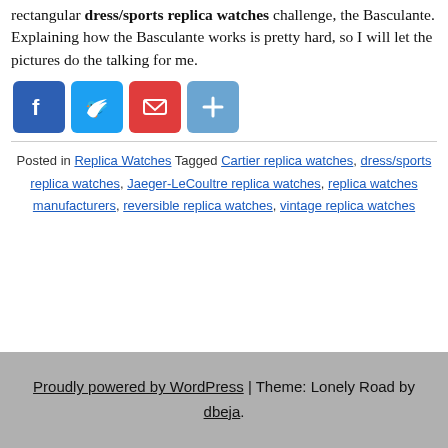rectangular dress/sports replica watches challenge, the Basculante. Explaining how the Basculante works is pretty hard, so I will let the pictures do the talking for me.
[Figure (other): Four social media share buttons: Facebook (blue), Twitter (blue), Email (red), Plus/More (light blue)]
Posted in Replica Watches Tagged Cartier replica watches, dress/sports replica watches, Jaeger-LeCoultre replica watches, replica watches manufacturers, reversible replica watches, vintage replica watches
Proudly powered by WordPress | Theme: Lonely Road by dbeja.